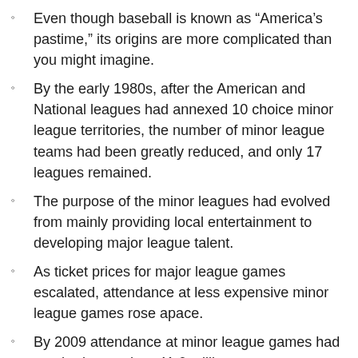Even though baseball is known as “America’s pastime,” its origins are more complicated than you might imagine.
By the early 1980s, after the American and National leagues had annexed 10 choice minor league territories, the number of minor league teams had been greatly reduced, and only 17 leagues remained.
The purpose of the minor leagues had evolved from mainly providing local entertainment to developing major league talent.
As ticket prices for major league games escalated, attendance at less expensive minor league games rose apace.
By 2009 attendance at minor league games had reached more than 41.6 million.